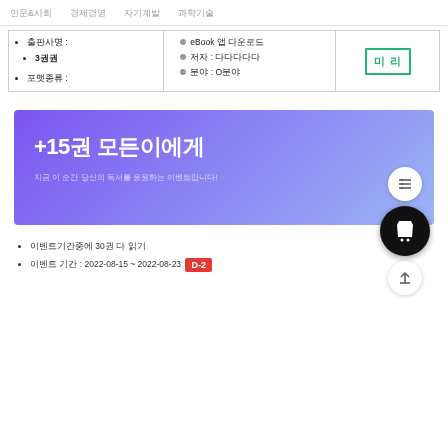인문&사회  경제경영  자기계발  과학기술
| • 출판사명 :
• 3권권 | • eBook 앱 다운로드
• 저자 : 다다다다다
• 분야 : O분야 | 미리보기 |
| • 포맷종류 : |  |  |
[Figure (infographic): Purple gradient promotional banner with text '+15권 모든이에게' and subtitle text, with floating UI buttons (list, cart, back-to-top)]
이벤트기간중에 30권 다 읽기
이벤트 기간 : 2022-08-15 ~ 2022-08-23 D-2